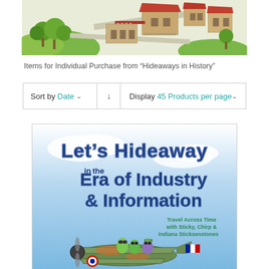[Figure (illustration): Top portion of an illustrated map/aerial view of buildings with red roofs, trees, and pathways in a cartoonish style.]
Items for Individual Purchase from “Hideaways in History”
Sort by Date ↓ Display 45 Products per page
[Figure (illustration): Book cover illustration: 'Let's Hideaway in the Era of Industry & Information' - Travel Across Time with Sticky, Chirp & Indiana Sticksenstones. Shows cartoon insect/bug characters riding in a vintage biplane.]